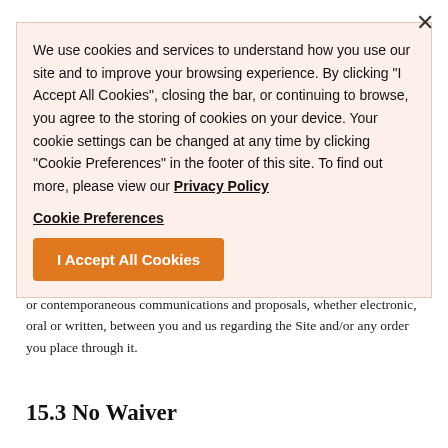[Figure (screenshot): Cookie consent overlay banner with orange background, showing cookie usage notice text, Cookie Preferences link, and I Accept All Cookies button. A close (X) button appears in top right.]
We use cookies and services to understand how you use our site and to improve your browsing experience. By clicking "I Accept All Cookies", closing the bar, or continuing to browse, you agree to the storing of cookies on your device. Your cookie settings can be changed at any time by clicking "Cookie Preferences" in the footer of this site. To find out more, please view our Privacy Policy
Cookie Preferences
I Accept All Cookies
or contemporaneous communications and proposals, whether electronic, oral or written, between you and us regarding the Site and/or any order you place through it.
15.3 No Waiver